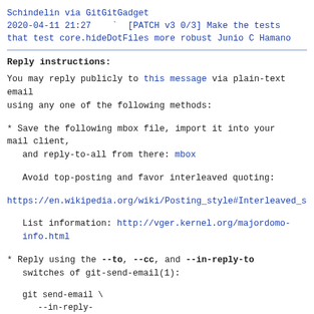Schindelin via GitGitGadget
2020-04-11 21:27   ` [PATCH v3 0/3] Make the tests that test core.hideDotFiles more robust Junio C Hamano
Reply instructions:
You may reply publicly to this message via plain-text email
using any one of the following methods:
* Save the following mbox file, import it into your mail client,
   and reply-to-all from there: mbox
Avoid top-posting and favor interleaved quoting:
https://en.wikipedia.org/wiki/Posting_style#Interleaved_s
List information: http://vger.kernel.org/majordomo-info.html
* Reply using the --to, --cc, and --in-reply-to switches of git-send-email(1):
git send-email \
   --in-reply-to=d0c0767a2aad765297ec82db84c41fec37eba3ec.1586516583.gi\
   --to=gitgitgadget@gmail.com \